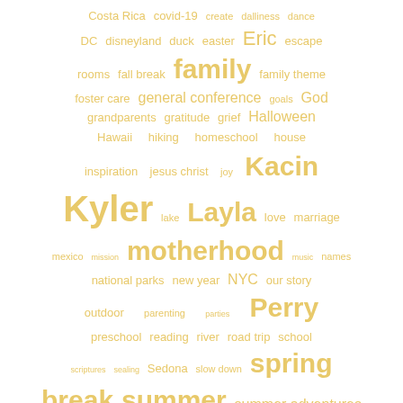[Figure (infographic): A word cloud tag list with terms in varying font sizes, all in golden/yellow color on white background. Words include family topics, names, and activities such as: Costa Rica, covid-19, create, dalliness, dance, DC, disneyland, duck, easter, Eric, escape rooms, fall break, family, family theme, foster care, general conference, goals, God, grandparents, gratitude, grief, Halloween, Hawaii, hiking, homeschool, house, inspiration, jesus christ, joy, Kacin, Kyler, lake, Layla, love, marriage, mexico, mission, motherhood, music, names, national parks, new year, NYC, our story, outdoor, parenting, parties, Perry, preschool, reading, river, road trip, school, scriptures, sealing, Sedona, slow down, spring break, summer, summer adventures, temples, Texas, Thanksgiving, theater, these days, thoughts, traditions, travel, vacations, valentine's, WA, wrestling, youth, YW camp]